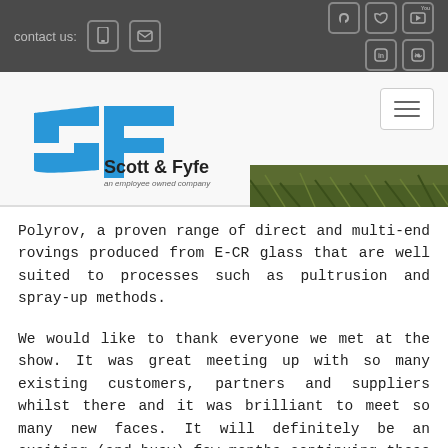contact us: [mobile icon] [email icon] [rss icon] [twitter icon] [youtube icon] [linkedin icon] [pinterest icon]
[Figure (logo): Scott & Fyfe logo with blue SF mark and tagline 'an employee owned company', accompanied by a grass/turf background strip and hamburger menu button]
Polyrov, a proven range of direct and multi-end rovings produced from E-CR glass that are well suited to processes such as pultrusion and spray-up methods.
We would like to thank everyone we met at the show. It was great meeting up with so many existing customers, partners and suppliers whilst there and it was brilliant to meet so many new faces. It will definitely be an exciting (and busy) few months continuing these conversations and, of course, if you did not get a chance to meet us at the show then